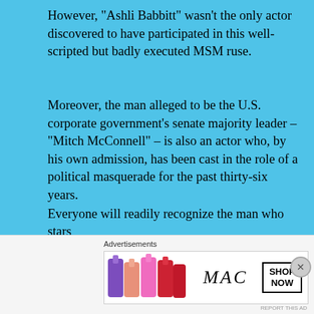However, "Ashli Babbitt" wasn't the only actor discovered to have participated in this well-scripted but badly executed MSM ruse.
Moreover, the man alleged to be the U.S. corporate government's senate majority leader – "Mitch McConnell" – is also an actor who, by his own admission, has been cast in the role of a political masquerade for the past thirty-six years.
Advertisements
[Figure (other): Advertisement: Launch your online course with WordPress – Learn More button]
Everyone will readily recognize the man who stars
Advertisements
[Figure (other): MAC cosmetics advertisement showing lipsticks with SHOP NOW button]